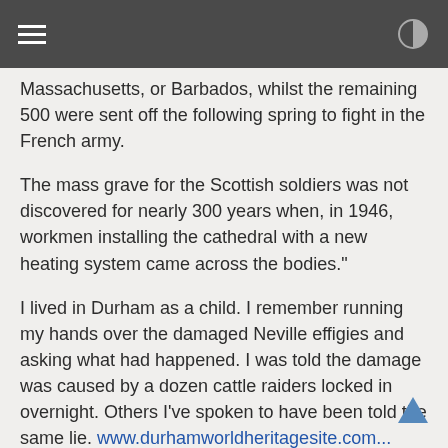[hamburger menu] [contrast toggle]
Massachusetts, or Barbados, whilst the remaining 500 were sent off the following spring to fight in the French army.
The mass grave for the Scottish soldiers was not discovered for nearly 300 years when, in 1946, workmen installing the cathedral with a new heating system came across the bodies."
I lived in Durham as a child. I remember running my hands over the damaged Neville effigies and asking what had happened. I was told the damage was caused by a dozen cattle raiders locked in overnight. Others I've spoken to have been told the same lie. www.durhamworldheritagesite.com...
northeasthistorytour.blogspot.co.uk... It may not be a secret but it is grossly misrepresented.
The exact position of the grave is not clear. Commonly it is said to be directly in front of the main door. www.durhamworldheritagesite.com...